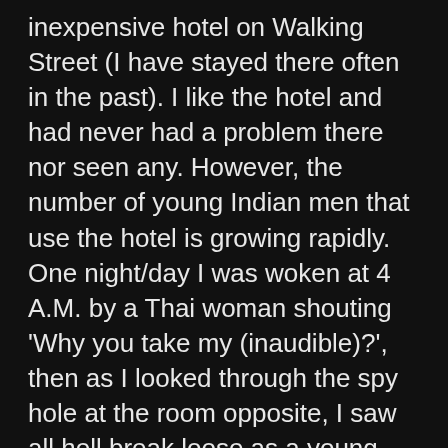inexpensive hotel on Walking Street (I have stayed there often in the past). I like the hotel and had never had a problem there nor seen any. However, the number of young Indian men that use the hotel is growing rapidly. One night/day I was woken at 4 A.M. by a Thai woman shouting 'Why you take my (inaudible)?', then as I looked through the spy hole at the room opposite, I saw all hell break loose as a young Indian man attacked her. Other Indian men came out on to the corridor followed by some Thai women and they all ran downstairs. The noise downstairs continued for 20 minutes. Nobody returned to the room, and the maids were in there early to clean up.
2 nights later and the room next to mine was